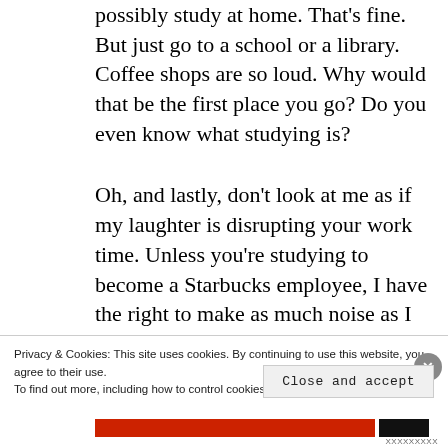possibly study at home. That's fine. But just go to a school or a library. Coffee shops are so loud. Why would that be the first place you go? Do you even know what studying is?
Oh, and lastly, don't look at me as if my laughter is disrupting your work time. Unless you're studying to become a Starbucks employee, I have the right to make as much noise as I want. I can't help it if I'm
Privacy & Cookies: This site uses cookies. By continuing to use this website, you agree to their use.
To find out more, including how to control cookies, see here: Cookie Policy
Close and accept